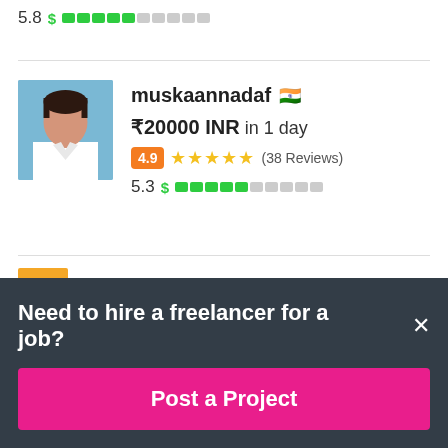5.8 $ [green bar indicator]
[Figure (screenshot): Freelancer profile card for muskaannadaf with Indian flag emoji, bid of ₹20000 INR in 1 day, rating badge 4.9, five orange stars, (38 Reviews), score 5.3 with green bar indicator]
Need to hire a freelancer for a job?
Post a Project